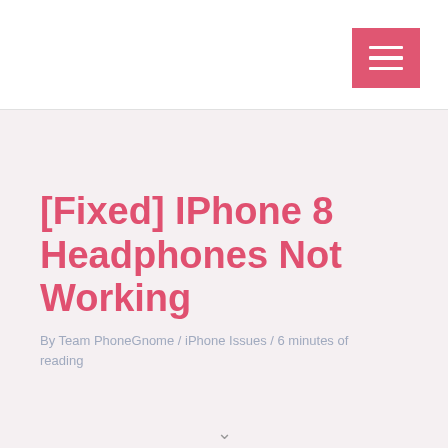[Fixed] IPhone 8 Headphones Not Working
By Team PhoneGnome / iPhone Issues / 6 minutes of reading
[Figure (screenshot): Dark gray banner image with cursive white text reading 'iPhone 8 Headphones...' and a pink rounded corner element in the top right]